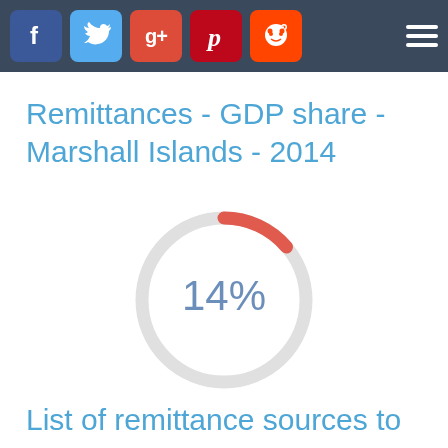[Figure (other): Social media icon bar with Facebook, Twitter, Google+, Pinterest, Reddit icons and hamburger menu]
Remittances - GDP share - Marshall Islands - 2014
[Figure (donut-chart): Remittances - GDP share - Marshall Islands - 2014]
List of remittance sources to